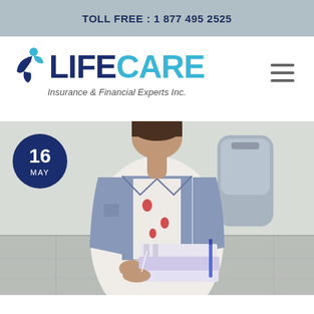TOLL FREE : 1 877 495 2525
[Figure (logo): LifeCare Insurance & Financial Experts Inc. logo with blue figure icon and two-tone LIFECARE wordmark]
[Figure (photo): Young female student holding binders and books, wearing a denim jacket and backpack, with a date badge showing 16 MAY in the lower-left corner of the image]